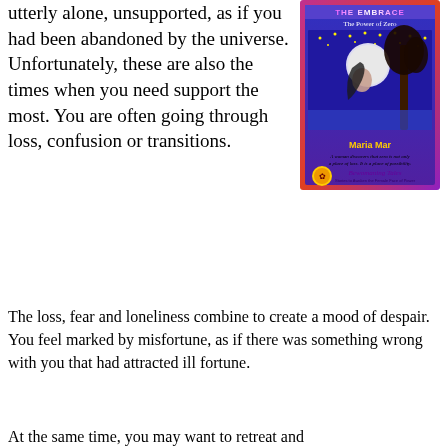utterly alone, unsupported, as if you had been abandoned by the universe. Unfortunately, these are also the times when you need support the most. You are often going through loss, confusion or transitions.
[Figure (illustration): Book cover for 'The Embrace: The Power of Zero' by Maria Mar. Purple/blue gradient background with red/orange border. Shows a woman with flowing hair under a full moon with stars and a dark tree. Text includes 'The Power of Zero', 'Maria Mar', 'A woman discovers that zero is not only a place of loss. It is a place of possibility.', 'Bewomaning Tales', 'Stories to Awaken the Female Face of Power'.]
The loss, fear and loneliness combine to create a mood of despair. You feel marked by misfortune, as if there was something wrong with you that had attracted ill fortune.
At the same time, you may want to retreat and